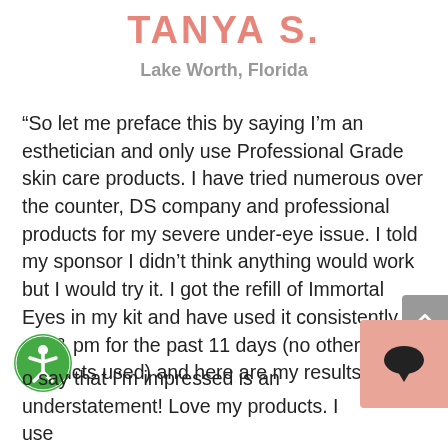TANYA S.
Lake Worth, Florida
“So let me preface this by saying I’m an esthetician and only use Professional Grade skin care products. I have tried numerous over the counter, DS company and professional products for my severe under-eye issue. I told my sponsor I didn’t think anything would work but I would try it. I got the refill of Immortal Eyes in my kit and have used it consistently am & pm for the past 11 days (no other products used) and here are my results.
o say that I’m impressed is an understatement! Love my products. I use